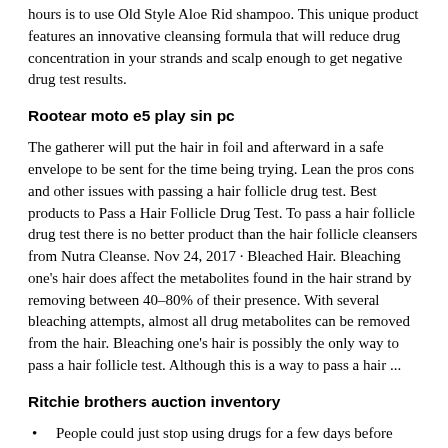hours is to use Old Style Aloe Rid shampoo. This unique product features an innovative cleansing formula that will reduce drug concentration in your strands and scalp enough to get negative drug test results.
Rootear moto e5 play sin pc
The gatherer will put the hair in foil and afterward in a safe envelope to be sent for the time being trying. Lean the pros cons and other issues with passing a hair follicle drug test. Best products to Pass a Hair Follicle Drug Test. To pass a hair follicle drug test there is no better product than the hair follicle cleansers from Nutra Cleanse. Nov 24, 2017 · Bleached Hair. Bleaching one's hair does affect the metabolites found in the hair strand by removing between 40–80% of their presence. With several bleaching attempts, almost all drug metabolites can be removed from the hair. Bleaching one's hair is possibly the only way to pass a hair follicle test. Although this is a way to pass a hair ...
Ritchie brothers auction inventory
People could just stop using drugs for a few days before orientation and pass the urine drug screen." KLLM started hair testing in 2018, and since then found more than 900